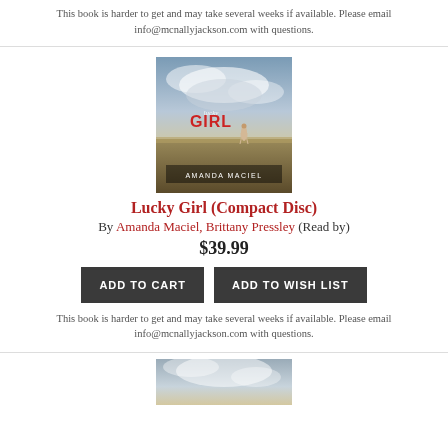This book is harder to get and may take several weeks if available. Please email info@mcnallyjackson.com with questions.
[Figure (photo): Book cover for Lucky Girl (Compact Disc) by Amanda Maciel — shows a girl standing in a field under a dramatic cloudy sky, with the title 'Lucky Girl' in red and author name 'Amanda Maciel' at the bottom.]
Lucky Girl (Compact Disc)
By Amanda Maciel, Brittany Pressley (Read by)
$39.99
ADD TO CART
ADD TO WISH LIST
This book is harder to get and may take several weeks if available. Please email info@mcnallyjackson.com with questions.
[Figure (photo): Partial book cover image visible at the bottom of the page — cloudy sky scene, same style as the Lucky Girl cover.]